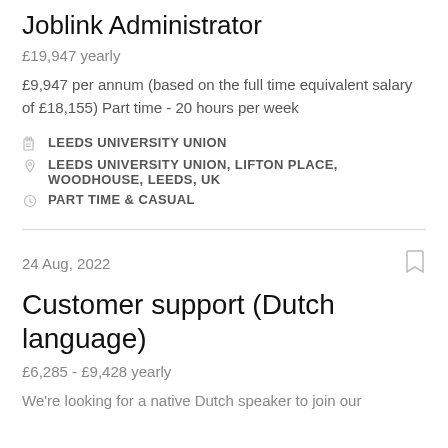Joblink Administrator
£19,947 yearly
£9,947 per annum (based on the full time equivalent salary of £18,155) Part time - 20 hours per week
LEEDS UNIVERSITY UNION
LEEDS UNIVERSITY UNION, LIFTON PLACE, WOODHOUSE, LEEDS, UK
PART TIME & CASUAL
24 Aug, 2022
Customer support (Dutch language)
£6,285 - £9,428 yearly
We're looking for a native Dutch speaker to join our